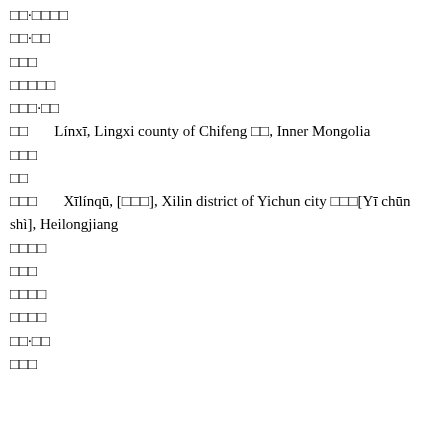□□·□□□□
□□·□□
□□□
□□□□□
□□□·□□
□□　　Línxī, Lingxi county of Chifeng □□, Inner Mongolia
□□□
□□
□□□　　Xīlínqū, [□□□], Xilin district of Yichun city □□□[Yī chūn shì], Heilongjiang
□□□□
□□□
□□□□
□□□□
□□·□□
□□□